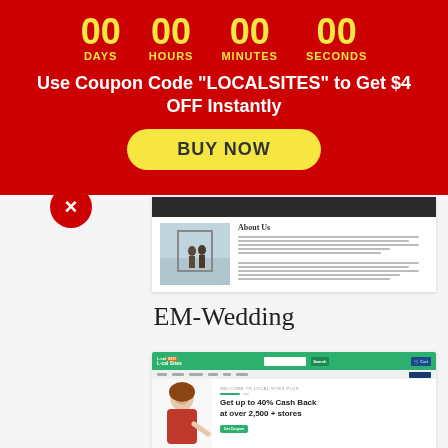[Figure (screenshot): Red promotional banner with countdown timer showing 00 DAYS, 00 HOURS, 00 MINUTES, 00 SECONDS, coupon code text, and BUY NOW button]
Use Coupon Code "LOCALSITES" to Get $4 OFF Instantly
EM-Wedding
[Figure (screenshot): Screenshot of Local Sites website with green header, search bar, navigation, woman in red shirt, and promotional text about 40% cash back]